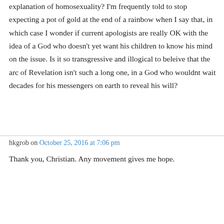explanation of homosexuality? I'm frequently told to stop expecting a pot of gold at the end of a rainbow when I say that, in which case I wonder if current apologists are really OK with the idea of a God who doesn't yet want his children to know his mind on the issue. Is it so transgressive and illogical to beleive that the arc of Revelation isn't such a long one, in a God who wouldnt wait decades for his messengers on earth to reveal his will?
hkgrob on October 25, 2016 at 7:06 pm
Thank you, Christian. Any movement gives me hope.